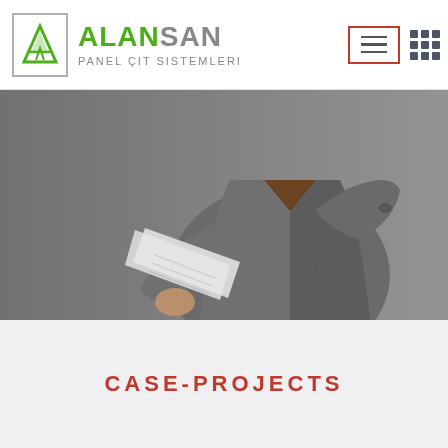ALANSAN PANEL ÇIT SİSTEMLERİ
[Figure (photo): A man in a grey blazer holding and reviewing white papers/documents against a grey background.]
CASE-PROJECTS